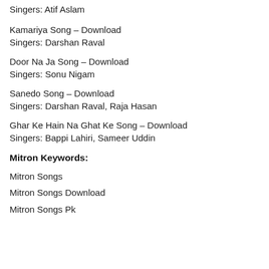Singers: Atif Aslam
Kamariya Song – Download
Singers: Darshan Raval
Door Na Ja Song – Download
Singers: Sonu Nigam
Sanedo Song – Download
Singers: Darshan Raval, Raja Hasan
Ghar Ke Hain Na Ghat Ke Song – Download
Singers: Bappi Lahiri, Sameer Uddin
Mitron Keywords:
Mitron Songs
Mitron Songs Download
Mitron Songs Pk